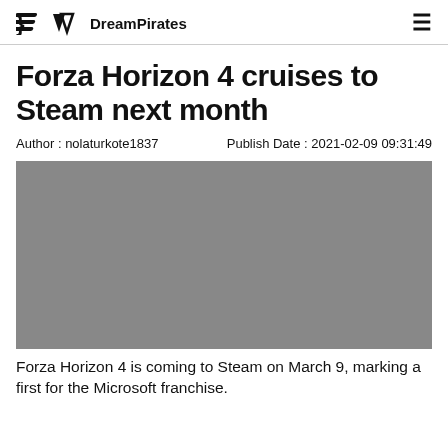DreamPirates
Forza Horizon 4 cruises to Steam next month
Author : nolaturkote1837    Publish Date : 2021-02-09 09:31:49
[Figure (photo): Gray placeholder image for article about Forza Horizon 4]
Forza Horizon 4 is coming to Steam on March 9, marking a first for the Microsoft franchise.